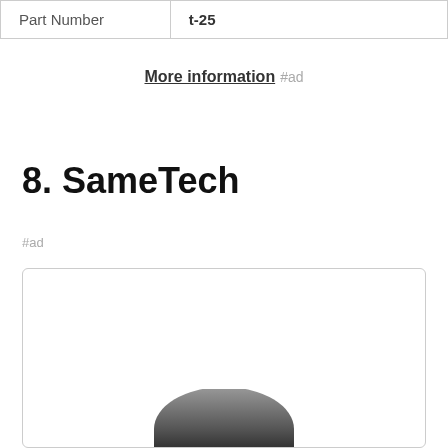| Part Number | t-25 |
| --- | --- |
| Part Number | t-25 |
More information #ad
8. SameTech
#ad
As an Amazon Associate I earn from qualifying purchases. This website uses the only necessary cookies to ensure you get the best experience on our website. More information
[Figure (photo): Product image partially visible at bottom of card]